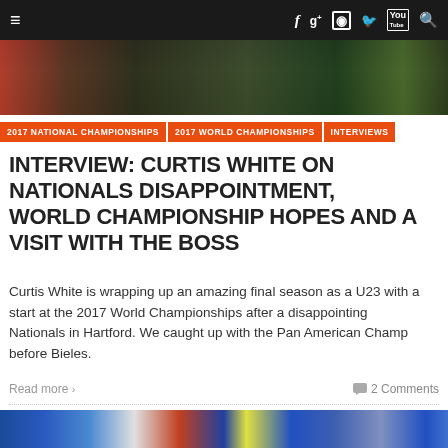≡  f  g+  ○  🐦  You  🔍
[Figure (photo): Top partial photo of cycling/sports scene with green bicycle and colorful clothing]
2017 NATIONAL CHAMPIONSHIPS  |  2017 WORLD CHAMPIONSHIPS  |  INTERVIEWS
INTERVIEW: CURTIS WHITE ON NATIONALS DISAPPOINTMENT, WORLD CHAMPIONSHIP HOPES AND A VISIT WITH THE BOSS
Curtis White is wrapping up an amazing final season as a U23 with a start at the 2017 World Championships after a disappointing Nationals in Hartford. We caught up with the Pan American Champ before Bieles.
Read more >                                              💬 2 Comments
[Figure (photo): Bottom partial photo showing cyclists in blue and white uniforms with a UK flag jersey visible]